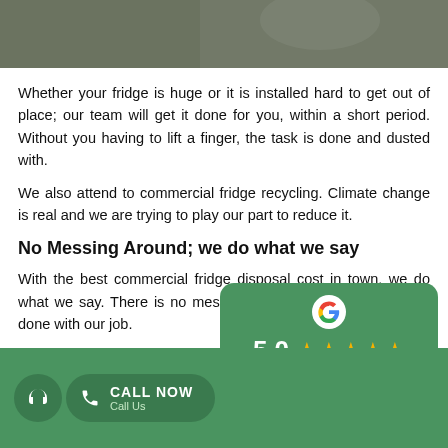[Figure (photo): Dark grey/green background photo at top of page, partially visible]
Whether your fridge is huge or it is installed hard to get out of place; our team will get it done for you, within a short period. Without you having to lift a finger, the task is done and dusted with.
We also attend to commercial fridge recycling. Climate change is real and we are trying to play our part to reduce it.
No Messing Around; we do what we say
With the best commercial fridge disposal cost in town, we do what we say. There is no messing around. In no time, we are done with our job.
Our team can lift, move, shift a...
[Figure (infographic): Google review card showing 5.0 rating with 5 gold stars and 'Read our 42 reviews' link]
CALL NOW  Call Us